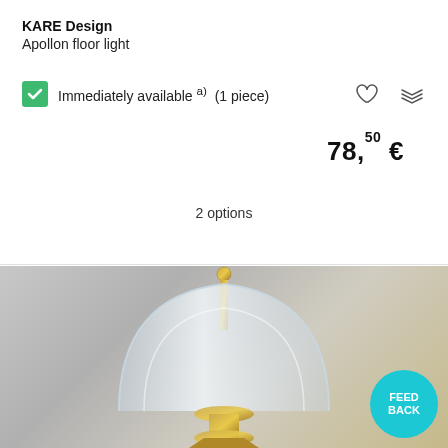KARE Design
Apollon floor light
Immediately available a) (1 piece)
78,50 €
2 options
[Figure (photo): Close-up photo of the top portion of a KARE Design Apollon floor lamp, showing a clear dome-shaped glass shade with a gold/brass finial on top and brass base components, against a grey background.]
FEED BACK